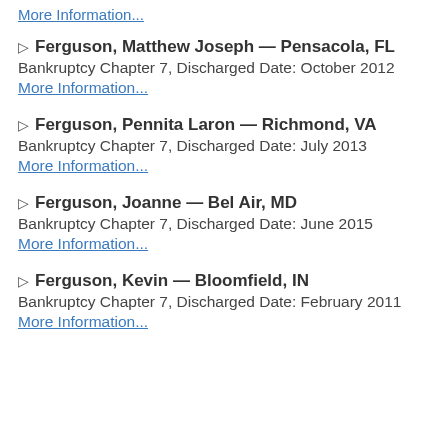More Information...
Ferguson, Matthew Joseph — Pensacola, FL
Bankruptcy Chapter 7, Discharged Date: October 2012
More Information...
Ferguson, Pennita Laron — Richmond, VA
Bankruptcy Chapter 7, Discharged Date: July 2013
More Information...
Ferguson, Joanne — Bel Air, MD
Bankruptcy Chapter 7, Discharged Date: June 2015
More Information...
Ferguson, Kevin — Bloomfield, IN
Bankruptcy Chapter 7, Discharged Date: February 2011
More Information...